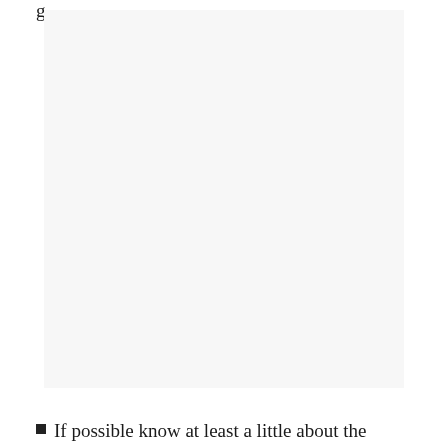g
[Figure (other): Large blank/white-space image placeholder area with light gray background]
If possible know at least a little about the